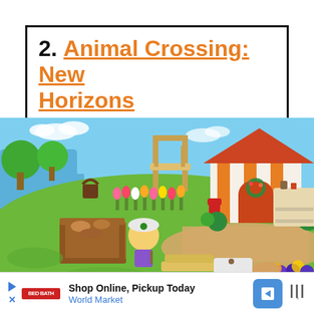2. Animal Crossing: New Horizons
[Figure (screenshot): Animal Crossing: New Horizons gameplay screenshot showing an island scene with a character in a hard hat crafting at a workbench made of logs, colorful tulips in the background, a cute house with an orange roof and wreath on the door, a water feature on the left, trees, and various crafting items scattered around the bright green island.]
Shop Online, Pickup Today
World Market